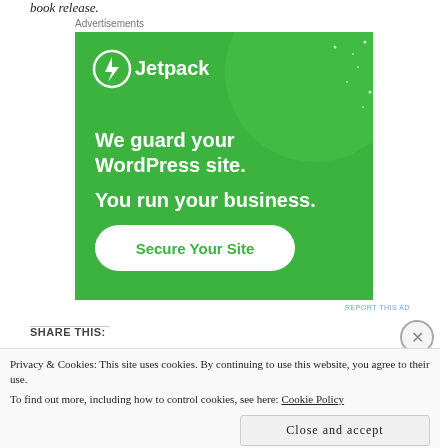book release.
Advertisements
[Figure (illustration): Jetpack advertisement with green background. Shows Jetpack logo (lightning bolt in circle) and text: 'We guard your WordPress site. You run your business.' with a 'Secure Your Site' button.]
REPORT THIS AD
SHARE THIS:
Privacy & Cookies: This site uses cookies. By continuing to use this website, you agree to their use.
To find out more, including how to control cookies, see here: Cookie Policy
Close and accept